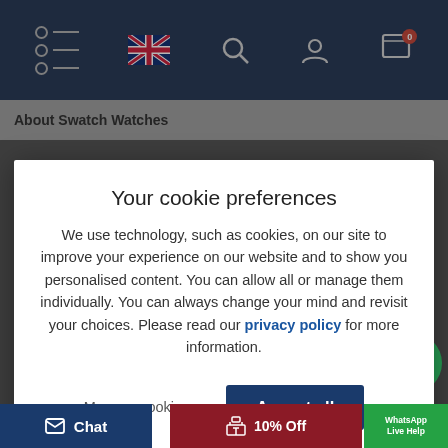Navigation bar with hamburger menu, UK flag, search, account, and cart icons
About Swatch Watches
analogue watch, at a time that digital pieces were becoming more
Your cookie preferences
We use technology, such as cookies, on our site to improve your experience on our website and to show you personalised content. You can allow all or manage them individually. You can always change your mind and revisit your choices. Please read our privacy policy for more information.
Manage cookies
Accept all
Click here to learn more
Read latest news
Chat
10% Off
WhatsApp Live Help